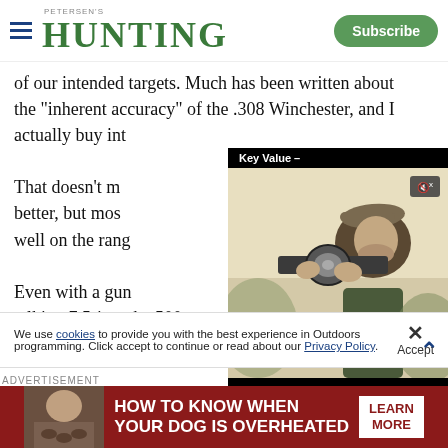PETERSEN'S HUNTING — Subscribe
of our intended targets. Much has been written about the "inherent accuracy" of the .308 Winchester, and I actually buy into
[Figure (screenshot): Video overlay showing a hunter aiming through a rifle scope, with video title bar 'Key Value –', mute button, close button, and video controls showing 00:00 / 04:14]
That doesn't m better, but mos well on the rang
Even with a gun talking 7.5-inch at the 500
We use cookies to provide you with the best experience in Outdoors programming. Click accept to continue or read about our Privacy Policy.
[Figure (photo): Advertisement banner: 'HOW TO KNOW WHEN YOUR DOG IS OVERHEATED' with LEARN MORE button on dark red background]